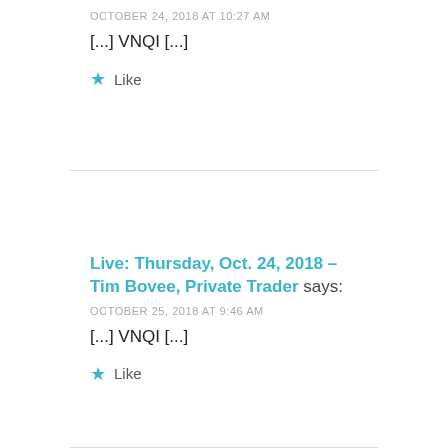OCTOBER 24, 2018 AT 10:27 AM
[...] VNQI [...]
★ Like
Live: Thursday, Oct. 24, 2018 – Tim Bovee, Private Trader says:
OCTOBER 25, 2018 AT 9:46 AM
[...] VNQI [...]
★ Like